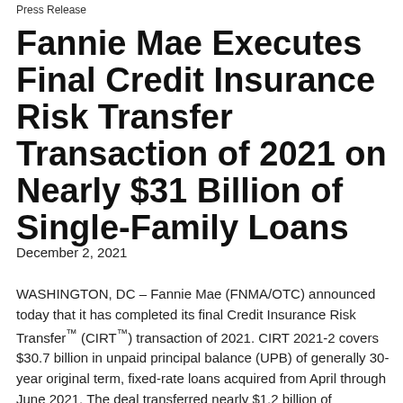Press Release
Fannie Mae Executes Final Credit Insurance Risk Transfer Transaction of 2021 on Nearly $31 Billion of Single-Family Loans
December 2, 2021
WASHINGTON, DC – Fannie Mae (FNMA/OTC) announced today that it has completed its final Credit Insurance Risk Transfer™ (CIRT™) transaction of 2021. CIRT 2021-2 covers $30.7 billion in unpaid principal balance (UPB) of generally 30-year original term, fixed-rate loans acquired from April through June 2021. The deal transferred nearly $1.2 billion of